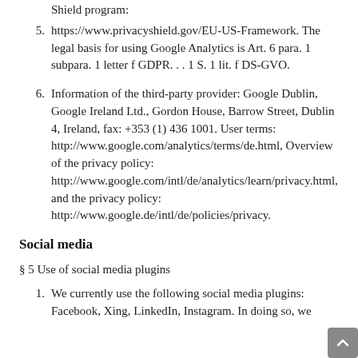Shield program:
5. https://www.privacyshield.gov/EU-US-Framework. The legal basis for using Google Analytics is Art. 6 para. 1 subpara. 1 letter f GDPR. . . 1 S. 1 lit. f DS-GVO.
6. Information of the third-party provider: Google Dublin, Google Ireland Ltd., Gordon House, Barrow Street, Dublin 4, Ireland, fax: +353 (1) 436 1001. User terms: http://www.google.com/analytics/terms/de.html, Overview of the privacy policy: http://www.google.com/intl/de/analytics/learn/privacy.html, and the privacy policy: http://www.google.de/intl/de/policies/privacy.
Social media
§ 5 Use of social media plugins
1. We currently use the following social media plugins: Facebook, Xing, LinkedIn, Instagram. In doing so, we